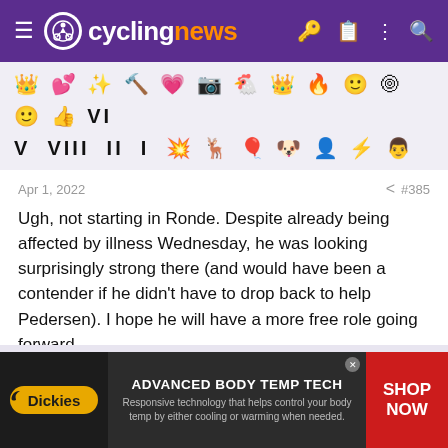cyclingnews
[Figure (other): Row of forum reaction/badge icons including crowns, hearts, stars, Roman numerals V VIII II I and various emoji-style symbols]
Apr 1, 2022   < #385

Ugh, not starting in Ronde. Despite already being affected by illness Wednesday, he was looking surprisingly strong there (and would have been a contender if he didn't have to drop back to help Pedersen). I hope he will have a more free role going forward.

👍 Sandisfan and firefly3323
[Figure (infographic): Dickies advertisement banner: ADVANCED BODY TEMP TECH — Responsive technology that helps control your body temp by either cooling or warming when needed. SHOP NOW]